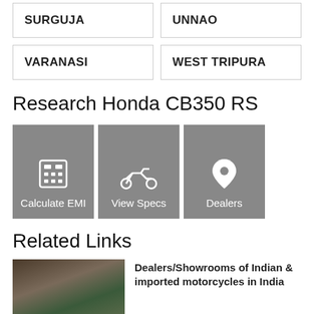SURGUJA
UNNAO
VARANASI
WEST TRIPURA
Research Honda CB350 RS
[Figure (infographic): Three grey buttons: Calculate EMI (calculator icon), View Specs (motorcycle icon), Dealers (location pin icon)]
Related Links
Dealers/Showrooms of Indian & imported motorcycles in India